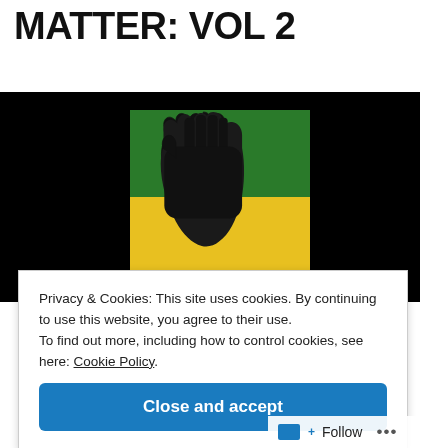MATTER: VOL 2
[Figure (illustration): Black raised fist on a green and yellow background, set against a black banner image — Black Lives Matter symbol]
Privacy & Cookies: This site uses cookies. By continuing to use this website, you agree to their use.
To find out more, including how to control cookies, see here: Cookie Policy.
Close and accept
Follow ...